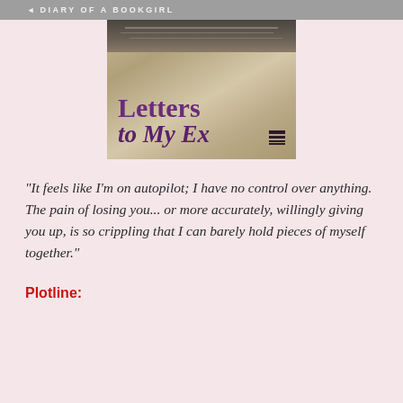DIARY OF A BOOKGIRL
[Figure (photo): Book cover of 'Letters to My Ex' showing a pen resting on parchment background with purple title text and publisher icon]
"It feels like I'm on autopilot; I have no control over anything. The pain of losing you... or more accurately, willingly giving you up, is so crippling that I can barely hold pieces of myself together."
Plotline: